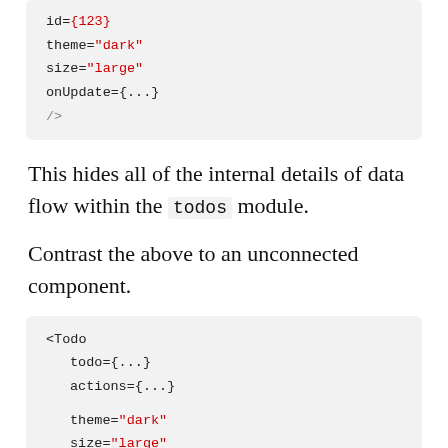[Figure (screenshot): Code block showing: id={123}, theme="dark", size="large", onUpdate={...}, />]
This hides all of the internal details of data flow within the todos module.
Contrast the above to an unconnected component.
[Figure (screenshot): Code block showing: <Todo, todo={...}, actions={...}, theme="dark", size="large", onUpdate={...}, />]